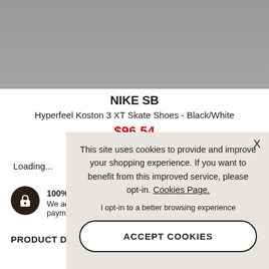[Figure (photo): Gray product image area (shoe image partially visible at top)]
NIKE SB
Hyperfeel Koston 3 XT Skate Shoes - Black/White
$96.54
Loading...
[Figure (illustration): Dark brown circular lock/security badge icon]
100% SEC[URE]
We accept[ all major] payments[.]
PRODUCT DESCRIP[TION]
This site uses cookies to provide and improve your shopping experience. If you want to benefit from this improved service, please opt-in. Cookies Page.
I opt-in to a better browsing experience
ACCEPT COOKIES